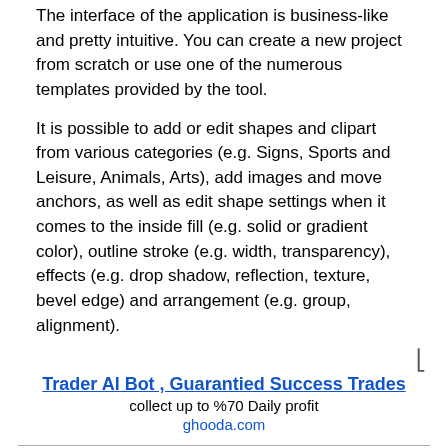The interface of the application is business-like and pretty intuitive. You can create a new project from scratch or use one of the numerous templates provided by the tool.
It is possible to add or edit shapes and clipart from various categories (e.g. Signs, Sports and Leisure, Animals, Arts), add images and move anchors, as well as edit shape settings when it comes to the inside fill (e.g. solid or gradient color), outline stroke (e.g. width, transparency), effects (e.g. drop shadow, reflection, texture, bevel edge) and arrangement (e.g. group, alignment).
Trader Al Bot , Guarantied Success Trades
collect up to %70 Daily profit
ghooda.com
BTC ETH USDT TRX Cloud Mining
Cloud mining can get up to 30% reward every day